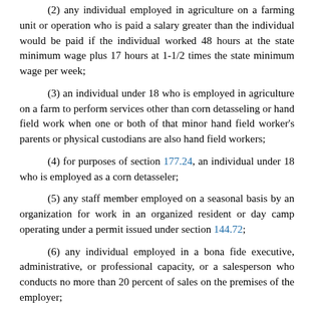(2) any individual employed in agriculture on a farming unit or operation who is paid a salary greater than the individual would be paid if the individual worked 48 hours at the state minimum wage plus 17 hours at 1-1/2 times the state minimum wage per week;
(3) an individual under 18 who is employed in agriculture on a farm to perform services other than corn detasseling or hand field work when one or both of that minor hand field worker's parents or physical custodians are also hand field workers;
(4) for purposes of section 177.24, an individual under 18 who is employed as a corn detasseler;
(5) any staff member employed on a seasonal basis by an organization for work in an organized resident or day camp operating under a permit issued under section 144.72;
(6) any individual employed in a bona fide executive, administrative, or professional capacity, or a salesperson who conducts no more than 20 percent of sales on the premises of the employer;
(7) any individual who renders service gratuitously for a